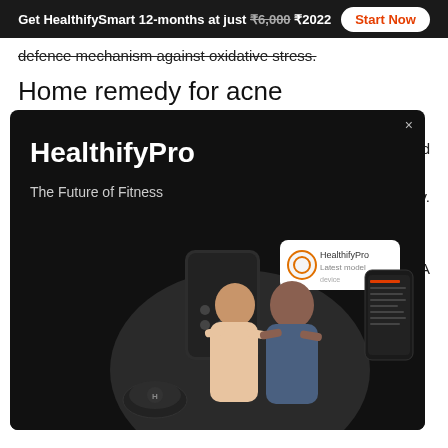Get HealthifySmart 12-months at just ₹6,000 ₹2022  Start Now
defence mechanism against oxidative stress.
Home remedy for acne
S... d... d... o... y. If... w... a... A h...
[Figure (infographic): HealthifyPro advertisement banner on dark background. Shows bold white text 'HealthifyPro' and subtitle 'The Future of Fitness', a 'JOIN THE WAITLIST' button, and images of fitness devices and two people (a woman and a man) posing with arms crossed. A close (x) button appears at top right.]
T... fr...
cream of tartar fights against acne-causing bacteria occurring due to pollution, oil, and dirt. Further, a study